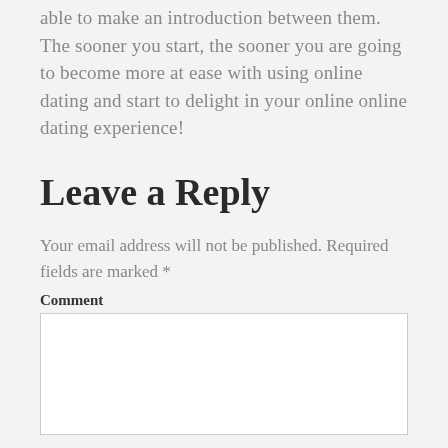able to make an introduction between them. The sooner you start, the sooner you are going to become more at ease with using online dating and start to delight in your online online dating experience!
Leave a Reply
Your email address will not be published. Required fields are marked *
Comment